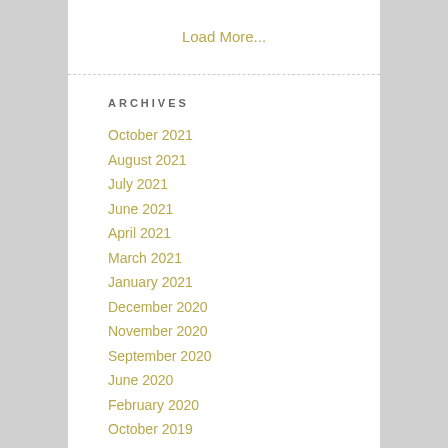Load More...
ARCHIVES
October 2021
August 2021
July 2021
June 2021
April 2021
March 2021
January 2021
December 2020
November 2020
September 2020
June 2020
February 2020
October 2019
May 2019
February 2019
April 2018
February 2018
January 2018